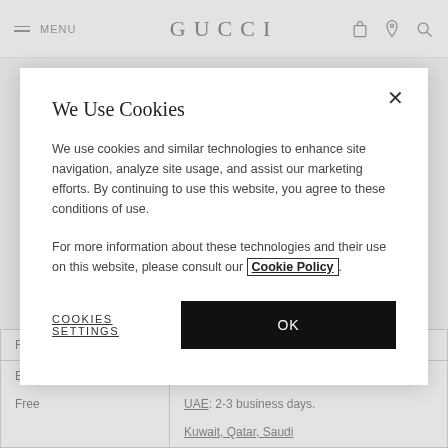MENU   GUCCI
Fill the bag with tissue paper to help maintain its shape and
We Use Cookies
We use cookies and similar technologies to enhance site navigation, analyze site usage, and assist our marketing efforts. By continuing to use this website, you agree to these conditions of use.
For more information about these technologies and their use on this website, please consult our Cookie Policy.
COOKIES SETTINGS    OK
| Fee |  |
| --- | --- |
| Express

Free | All European Countries: 1-2 business days.

UAE: 2-3 business days.

Kuwait, Qatar, Saudi |